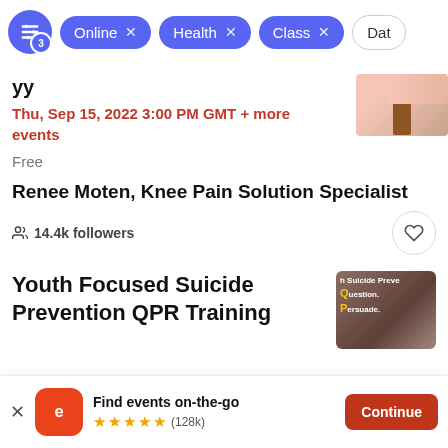Online × Health × Class × Date
Thu, Sep 15, 2022 3:00 PM GMT + more events
Free
Renee Moten, Knee Pain Solution Specialist
14.4k followers
Youth Focused Suicide Prevention QPR Training
Find events on-the-go ★★★★★ (128k)